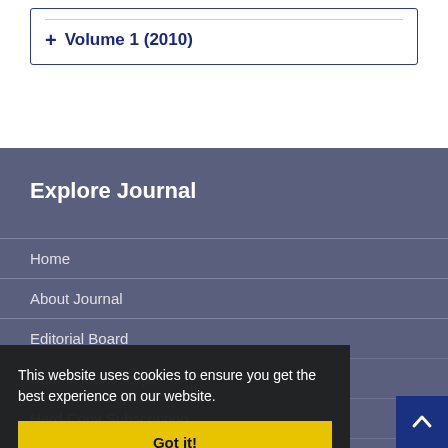+ Volume 1 (2010)
Explore Journal
Home
About Journal
Editorial Board
Submit Manuscript
This website uses cookies to ensure you get the best experience on our website.
Hard Copy Subscription
Sitemap